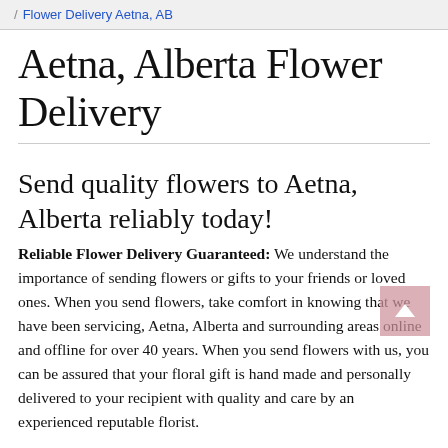/ Flower Delivery Aetna, AB
Aetna, Alberta Flower Delivery
Send quality flowers to Aetna, Alberta reliably today!
Reliable Flower Delivery Guaranteed: We understand the importance of sending flowers or gifts to your friends or loved ones. When you send flowers, take comfort in knowing that we have been servicing, Aetna, Alberta and surrounding areas online and offline for over 40 years. When you send flowers with us, you can be assured that your floral gift is hand made and personally delivered to your recipient with quality and care by an experienced reputable florist.